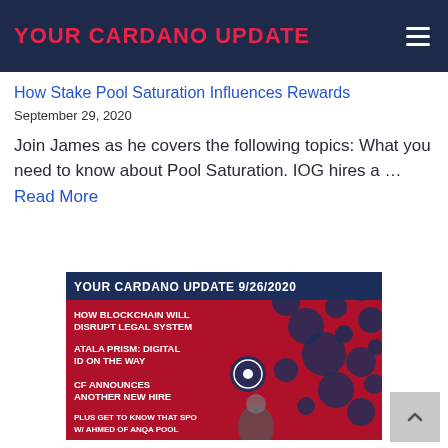YOUR CARDANO UPDATE
How Stake Pool Saturation Influences Rewards
September 29, 2020
Join James as he covers the following topics: What you need to know about Pool Saturation. IOG hires a … Read More
[Figure (infographic): Your Cardano Update 9/26/2020 thumbnail showing topics: How Blockchain Will Disrupt Legal System, Atala Prism: Digital ID On The Way, CF Announces Another New Hire, Plus Get To Know That SPO W/ Ahmed Of Anqa Pool. Red background with Cardano circles logo and a person photo.]